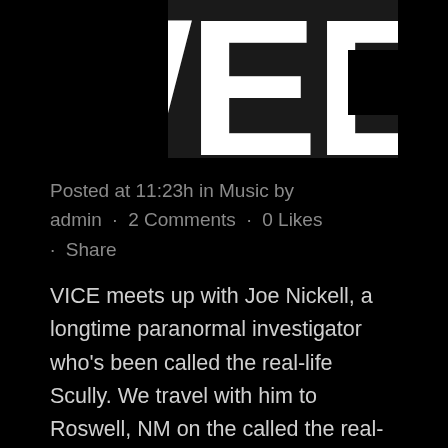WEE
Posted at 11:23h in Music by admin · 2 Comments · 0 Likes · Share
VICE meets up with Joe Nickell, a longtime paranormal investigator who's been called the real-life Scully. We travel with him to Roswell, NM on the called the real-life Scully. We travel with him to Roswell, NM on the anniversary of the 1947